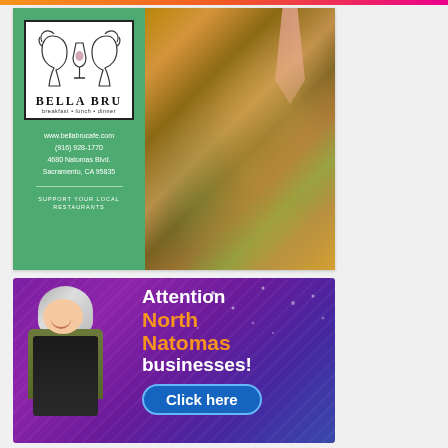[Figure (photo): Bella Bru Cafe advertisement. Left panel: green background with Bella Bru logo (two face profiles with wine glass), text 'breakfast • lunch • dinner', website www.bellabrucafe.com, phone (916) 928-1770, address 4680 Natomas Blvd. Sacramento, CA 95835, and 'SUPPORT YOUR LOCAL RESTAURANTS'. Right panel: food photo showing pasta dish with wine glass and bottle.]
[Figure (photo): Advertisement for North Natomas businesses. Purple/violet gradient background with diagonal lines. Person in chef hat and apron on left. Text: 'Attention North Natomas businesses! Click here' with orange and white text on purple background. Blue rounded 'Click here' button.]